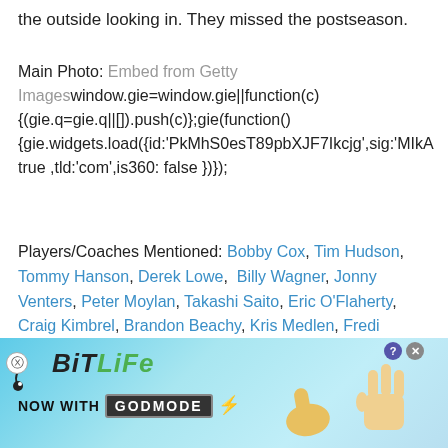the outside looking in. They missed the postseason.
Main Photo: Embed from Getty Imageswindow.gie=window.gie||function(c){(gie.q=gie.q||[]).push(c)};gie(function(){gie.widgets.load({id:'PkMhS0esT89pbXJF7Ikcjg',sig:'MIkA true ,tld:'com',is360: false })});
Players/Coaches Mentioned: Bobby Cox, Tim Hudson, Tommy Hanson, Derek Lowe, Billy Wagner, Jonny Venters, Peter Moylan, Takashi Saito, Eric O'Flaherty, Craig Kimbrel, Brandon Beachy, Kris Medlen, Fredi Gonzalez, Jair Jurrjens, Scott Linebrink, George Sherrill, Jason Heyward, Freeman, Dan Uggla, Brian
[Figure (screenshot): MLB 2022 Regular Season widget showing Twins logo and team name]
[Figure (advertisement): BitLife advertisement banner with 'Now with GOD MODE' text and hand/thumb illustrations]